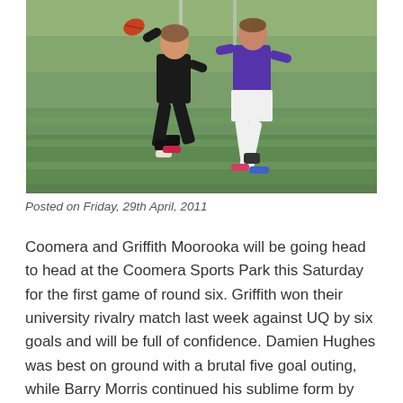[Figure (photo): Two Australian football players competing on a grass field. One player in a black jersey is reaching for the ball while a player in a purple and white uniform contests.]
Posted on Friday, 29th April, 2011
Coomera and Griffith Moorooka will be going head to head at the Coomera Sports Park this Saturday for the first game of round six. Griffith won their university rivalry match last week against UQ by six goals and will be full of confidence. Damien Hughes was best on ground with a brutal five goal outing, while Barry Morris continued his sublime form by being named in his side's